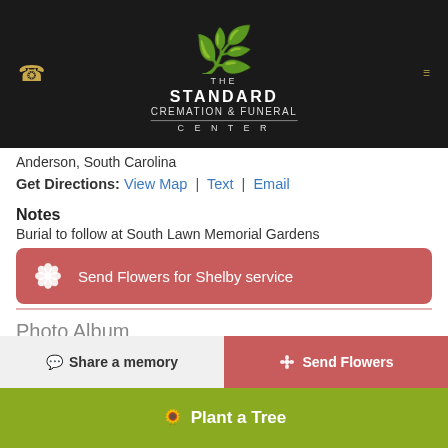[Figure (logo): The Standard Cremation & Funeral Center logo with golden tree on dark background]
Anderson, South Carolina
Get Directions: View Map | Text | Email
Notes
Burial to follow at South Lawn Memorial Gardens
Send Flowers for Shelby service
Photo Album
[Figure (photo): Partially visible portrait photo of a person]
Share a memory
Send Flowers
Plant a Tree